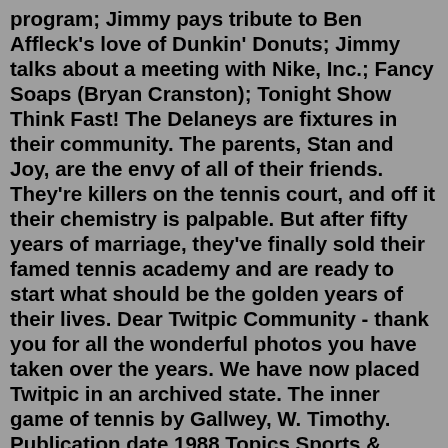program; Jimmy pays tribute to Ben Affleck's love of Dunkin' Donuts; Jimmy talks about a meeting with Nike, Inc.; Fancy Soaps (Bryan Cranston); Tonight Show Think Fast! The Delaneys are fixtures in their community. The parents, Stan and Joy, are the envy of all of their friends. They're killers on the tennis court, and off it their chemistry is palpable. But after fifty years of marriage, they've finally sold their famed tennis academy and are ready to start what should be the golden years of their lives. Dear Twitpic Community - thank you for all the wonderful photos you have taken over the years. We have now placed Twitpic in an archived state. The inner game of tennis by Gallwey, W. Timothy. Publication date 1988 Topics Sports & Recreation, Sports, General, Non-Classifiable, Tennis, Psychological aspects Publisher Toronto : Bantam Books Collection inlibrary; printdisabled; internetarchivebooks; china Digitizing sponsor Internet Archive Contributor Internet ArchiveNo. Original air date Guest(s) Musical/entertainment guest(s) 1209A: February 1...